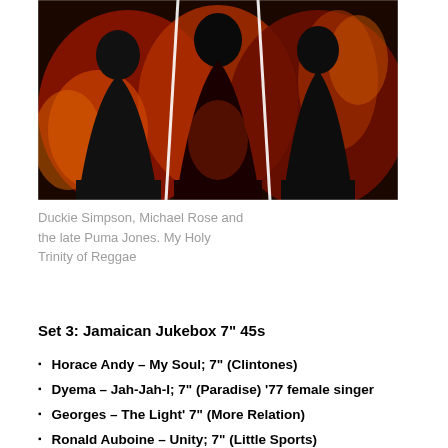[Figure (photo): A photo of three people — Duckie Simpson, Michael Rose, and the late Puma Jones — in dramatic red/orange tones, cut-out style against a dark background.]
Duckie Simpson, Michael Rose and the late Puma Jones. My Holy Trinity of Reggae
Set 3: Jamaican Jukebox 7" 45s
Horace Andy – My Soul; 7" (Clintones)
Dyema – Jah-Jah-I; 7" (Paradise) '77 female singer
Georges – The Light' 7" (More Relation)
Ronald Auboine – Unity; 7" (Little Sports)
Cecil Barker – Pay the Bills; 7" (Hit Maker) '76
Black Slate Meets Soul Syndicate – Bum Dub; Moodie